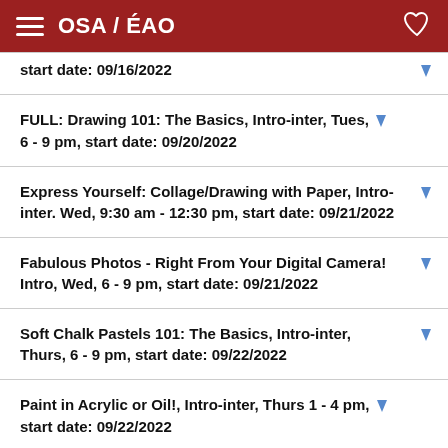OSA / ÉAO
start date: 09/16/2022
FULL: Drawing 101: The Basics, Intro-inter, Tues, 6 - 9 pm, start date: 09/20/2022
Express Yourself: Collage/Drawing with Paper, Intro-inter. Wed, 9:30 am - 12:30 pm, start date: 09/21/2022
Fabulous Photos - Right From Your Digital Camera! Intro, Wed, 6 - 9 pm, start date: 09/21/2022
Soft Chalk Pastels 101: The Basics, Intro-inter, Thurs, 6 - 9 pm, start date: 09/22/2022
Paint in Acrylic or Oil!, Intro-inter, Thurs 1 - 4 pm, start date: 09/22/2022